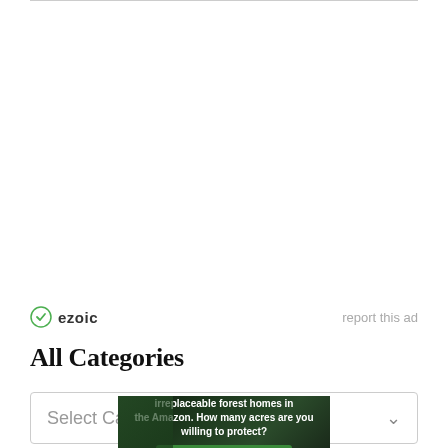[Figure (other): Ezoic advertisement placeholder area (white space above ezoic branding bar)]
ezoic   report this ad
All Categories
Select Category
[Figure (other): Forest conservation advertisement banner: 'Just $2 can protect 1 acre of irreplaceable forest homes in the Amazon. How many acres are you willing to protect?' with a 'PROTECT FORESTS NOW' button, dark forest background with a bird image on the left.]